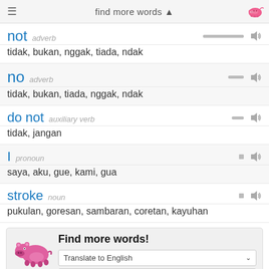find more words
not adverb
tidak, bukan, nggak, tiada, ndak
no adverb
tidak, bukan, tiada, nggak, ndak
do not auxiliary verb
tidak, jangan
I pronoun
saya, aku, gue, kami, gua
stroke noun
pukulan, goresan, sambaran, coretan, kayuhan
Find more words! Translate to English From Indonesian